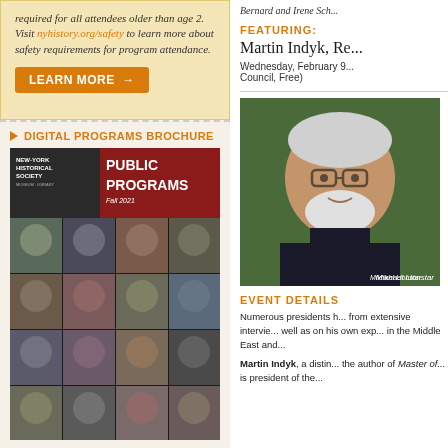required for all attendees older than age 2. Visit nyhistory.org/safety to learn more about safety requirements for program attendance.
LEARN MORE →
DIGITAL PROGRAMS BROCHURE
[Figure (photo): New-York Historical Society Museum & Library Public Programs Fall 2021 brochure cover showing multiple portrait photos of speakers]
Bernard and Irene Sch...
FEATURING:
Martin Indyk, Re...
Wednesday, February 9... Council, Free)
[Figure (photo): Portrait photo of Martin Indyk, a man with white hair and beard wearing glasses and a dark turtleneck. Caption reads: Mikhael Llonstar]
EVENT DETAILS
Numerous presidents h... from extensive intervie... well as on his own exp... in the Middle East and...
Martin Indyk, a distin... the author of Master of... is president of the...